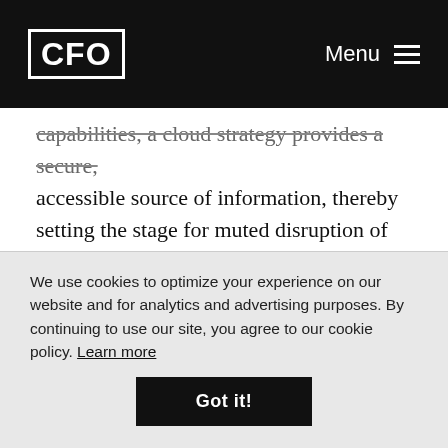CFO | Menu
capabilities, a cloud strategy provides a secure, accessible source of information, thereby setting the stage for muted disruption of work and comfort in the enablement of fact-based decision making.
Instill agile principles. Agile is a way of working that focuses on people over process, with emphasis on iterative planning and incremental delivery of work. With
We use cookies to optimize your experience on our website and for analytics and advertising purposes. By continuing to use our site, you agree to our cookie policy. Learn more
Got it!